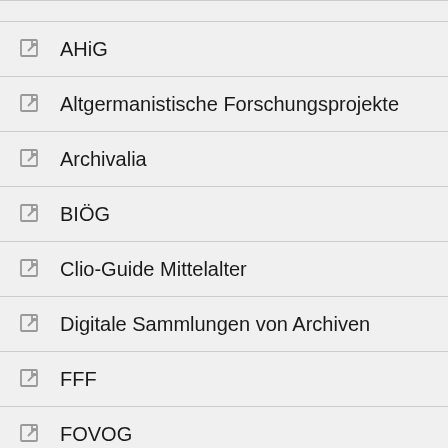AHiG
Altgermanistische Forschungsprojekte
Archivalia
BIÖG
Clio-Guide Mittelalter
Digitale Sammlungen von Archiven
FFF
FOVOG
H-Soz-u-Kult